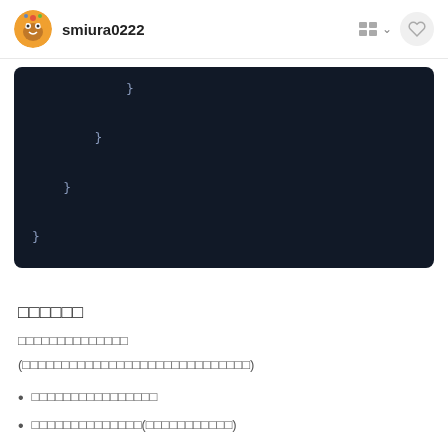smiura0222
[Figure (screenshot): Dark code editor block showing closing curly braces at multiple indentation levels: }  }  }  }]
□□□□□□
□□□□□□□□□□□□□□
(□□□□□□□□□□□□□□□□□□□□□□□□□□□□□)
□□□□□□□□□□□□□□□□
□□□□□□□□□□□□□□(□□□□□□□□□□□)
□□□□□□□□□□□□□□□